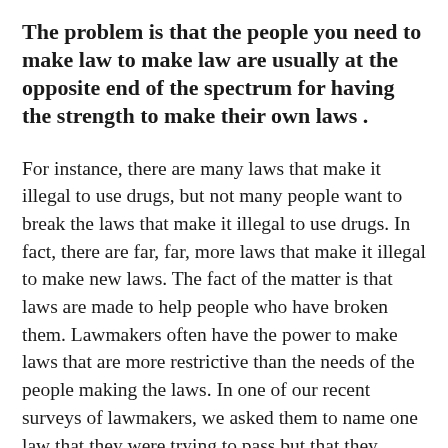The problem is that the people you need to make law to make law are usually at the opposite end of the spectrum for having the strength to make their own laws .
For instance, there are many laws that make it illegal to use drugs, but not many people want to break the laws that make it illegal to use drugs. In fact, there are far, far, more laws that make it illegal to make new laws. The fact of the matter is that laws are made to help people who have broken them. Lawmakers often have the power to make laws that are more restrictive than the needs of the people making the laws. In one of our recent surveys of lawmakers, we asked them to name one law that they were trying to pass but that they couldn't pass